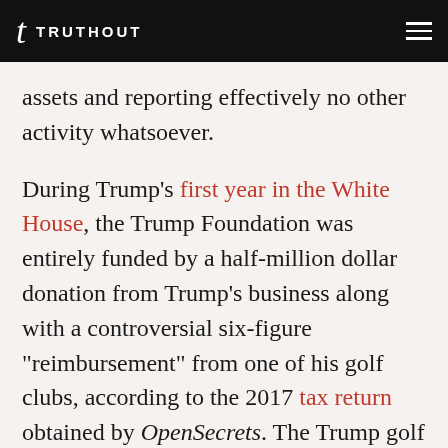TRUTHOUT
assets and reporting effectively no other activity whatsoever.

During Trump’s first year in the White House, the Trump Foundation was entirely funded by a half-million dollar donation from Trump’s business along with a controversial six-figure “reimbursement” from one of his golf clubs, according to the 2017 tax return obtained by OpenSecrets. The Trump golf club reimbursement stemmed from funds received after a 2012 auction that the New York attorney general’s